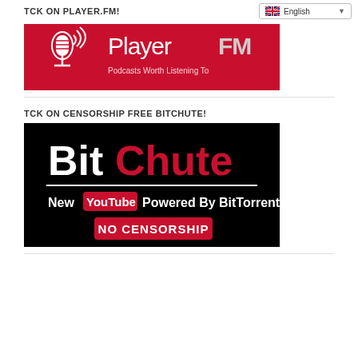TCK ON PLAYER.FM!
[Figure (logo): Player FM logo — white microphone and sound wave icon on red background with 'PlayerFM' text]
TCK ON CENSORSHIP FREE BITCHUTE!
[Figure (logo): BitChute logo on black background — 'BitChute' in white and red text, 'New YouTube Powered By BitTorrent' and red 'NO CENSORSHIP' banner]